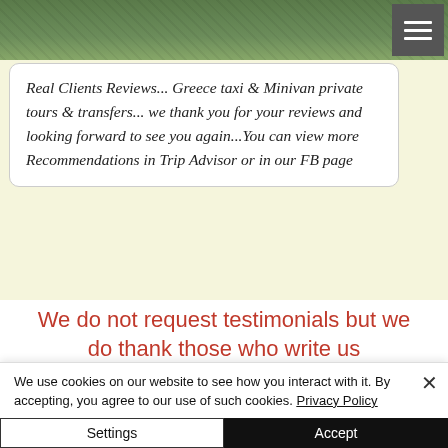[Figure (photo): Top portion of a webpage showing a scenic outdoor/nature photograph (rocky landscape with green vegetation), with a gray hamburger menu button in the top right corner.]
Real Clients Reviews... Greece taxi & Minivan private tours & transfers... we thank you for your reviews and looking forward to see you again...You can view more Recommendations in Trip Advisor or in our FB page
We do not request testimonials but we do thank those who write us
We use cookies on our website to see how you interact with it. By accepting, you agree to our use of such cookies. Privacy Policy
Settings
Accept